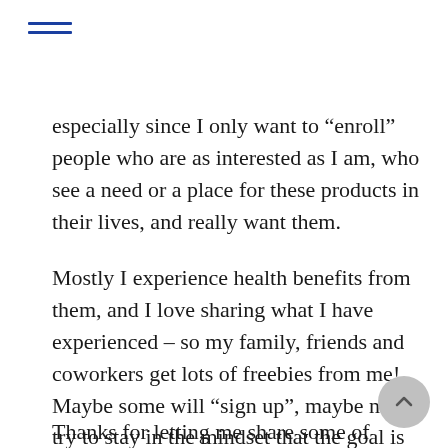especially since I only want to “enroll” people who are as interested as I am, who see a need or a place for these products in their lives, and really want them.
Mostly I experience health benefits from them, and I love sharing what I have experienced – so my family, friends and coworkers get lots of freebies from me! Maybe some will “sign up”, maybe not. I try to stay in the mindset that the goal is to help people out, not make a paycheck.
Thanks for letting me share some of...